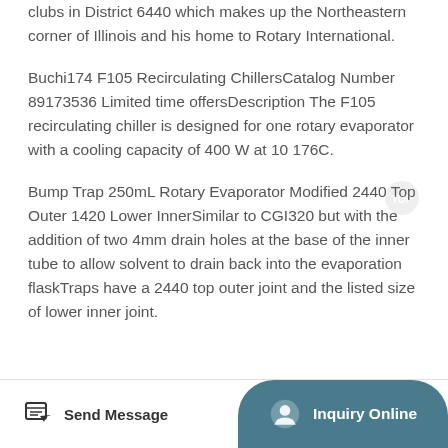clubs in District 6440 which makes up the Northeastern corner of Illinois and his home to Rotary International.
Buchi174 F105 Recirculating ChillersCatalog Number 89173536 Limited time offersDescription The F105 recirculating chiller is designed for one rotary evaporator with a cooling capacity of 400 W at 10 176C.
Bump Trap 250mL Rotary Evaporator Modified 2440 Top Outer 1420 Lower InnerSimilar to CGI320 but with the addition of two 4mm drain holes at the base of the inner tube to allow solvent to drain back into the evaporation flaskTraps have a 2440 top outer joint and the listed size of lower inner joint.
Send Message | Inquiry Online